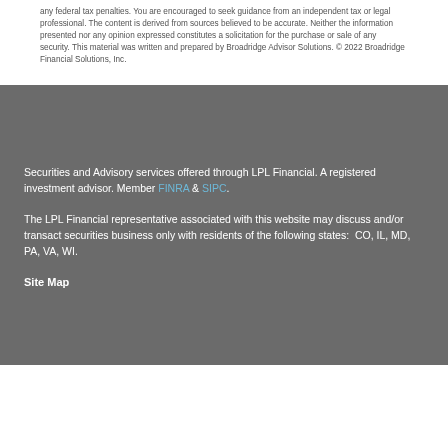any federal tax penalties. You are encouraged to seek guidance from an independent tax or legal professional. The content is derived from sources believed to be accurate. Neither the information presented nor any opinion expressed constitutes a solicitation for the purchase or sale of any security. This material was written and prepared by Broadridge Advisor Solutions. © 2022 Broadridge Financial Solutions, Inc.
Securities and Advisory services offered through LPL Financial. A registered investment advisor. Member FINRA & SIPC.
The LPL Financial representative associated with this website may discuss and/or transact securities business only with residents of the following states:  CO, IL, MD, PA, VA, WI.
Site Map